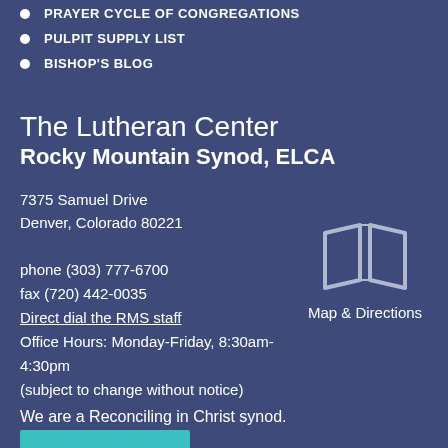PRAYER CYCLE OF CONGREGATIONS
PULPIT SUPPLY LIST
BISHOP'S BLOG
The Lutheran Center
Rocky Mountain Synod, ELCA
7375 Samuel Drive
Denver, Colorado 80221
phone (303) 777-6700
fax (720) 442-0035
Direct dial the RMS staff
Office Hours: Monday-Friday, 8:30am-4:30pm
(subject to change without notice)
[Figure (illustration): Map icon (open book/map outline) with text 'Map & Directions' below]
We are a Reconciling in Christ synod.